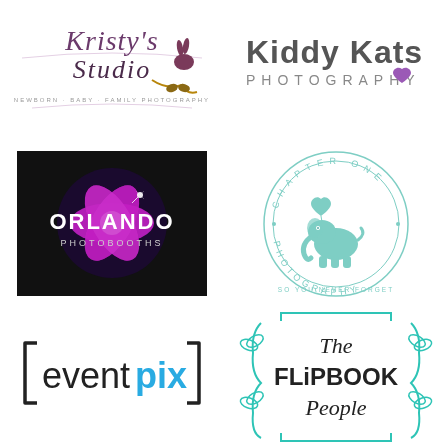[Figure (logo): Kristy's Studio logo - handwritten script with rabbit silhouette, tagline: NEWBORN · BABY · FAMILY PHOTOGRAPHY]
[Figure (logo): Kiddy Kats Photography logo - bold sans-serif text with purple heart]
[Figure (logo): Orlando Photobooths logo - dark background with purple camera aperture design and sparkle]
[Figure (logo): Chapter One Photography circular seal logo with teal elephant and heart balloon, text: SO YOU NEVER FORGET]
[Figure (logo): eventpix logo - black and blue sans-serif text with bracket frame]
[Figure (logo): The Flipbook People logo - handwritten and block text with teal decorative leaf brackets]